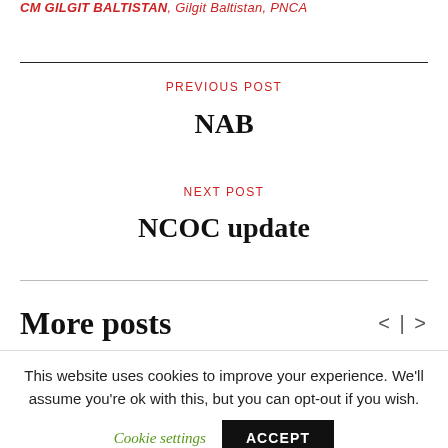CM GILGIT BALTISTAN, Gilgit Baltistan, PNCA
PREVIOUS POST
NAB
NEXT POST
NCOC update
More posts
This website uses cookies to improve your experience. We'll assume you're ok with this, but you can opt-out if you wish.
Cookie settings   ACCEPT